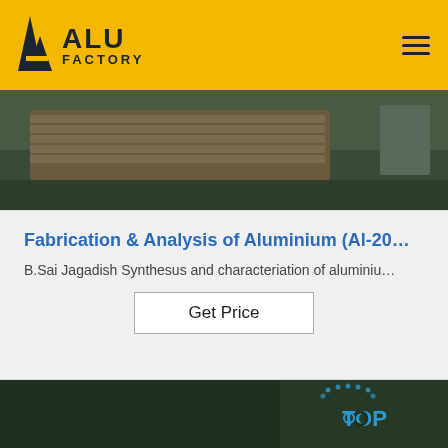ALU FACTORY
[Figure (photo): Industrial warehouse or factory floor showing stacked aluminum sheets or panels on a dark green floor]
Fabrication & Analysis of Aluminium (Al-20…
B.Sai Jagadish Synthesus and characteriation of aluminiu…
Get Price
[Figure (photo): Dark green background with TOP badge/logo in blue dots and text, partial view of hands holding something white at bottom]